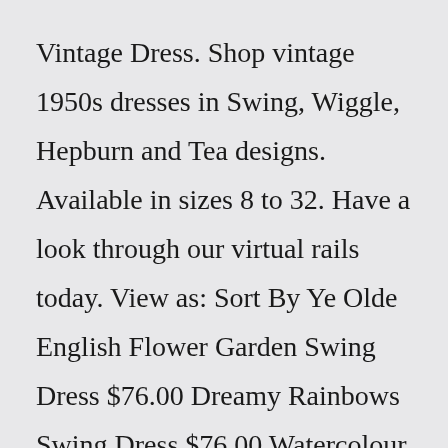Vintage Dress. Shop vintage 1950s dresses in Swing, Wiggle, Hepburn and Tea designs. Available in sizes 8 to 32. Have a look through our virtual rails today. View as: Sort By Ye Olde English Flower Garden Swing Dress $76.00 Dreamy Rainbows Swing Dress $76.00 Watercolour Mustard Swing Dress $76.00 Teal Flora Swing Dress $76.00 Bee Honey Swing Dress $76.00A popular and iconic era for 50s pin up